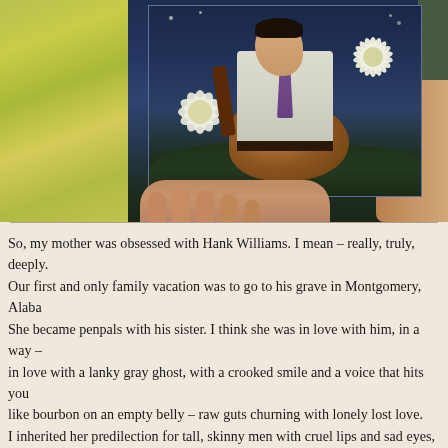[Figure (photo): A photograph of someone holding up a painted artwork depicting a man (resembling Hank Williams) playing guitar, surrounded by large white flowers, against a dark blue night-sky background. Yellow-green foliage is visible on the left side of the photo, and a person's arm/hand is visible on the right.]
So, my mother was obsessed with Hank Williams. I mean – really, truly, deeply. Our first and only family vacation was to go to his grave in Montgomery, Alabama. She became penpals with his sister. I think she was in love with him, in a way – in love with a lanky gray ghost, with a crooked smile and a voice that hits you like bourbon on an empty belly – raw guts churning with lonely lost love. I inherited her predilection for tall, skinny men with cruel lips and sad eyes, for wastrels with hearts full of song, careening through life wearing the albatross that is an incurable awesome death-wish around their scrawny necks. Luckily, I got over all that a while back. I'm not sure if she ever did. Beautiful disasters